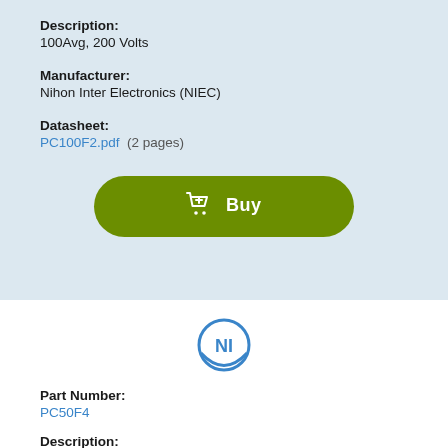Description:
100Avg, 200 Volts
Manufacturer:
Nihon Inter Electronics (NIEC)
Datasheet:
PC100F2.pdf  (2 pages)
[Figure (logo): NIEC circular logo with stylized N and C letters]
Part Number:
PC50F4
Description:
FRD MODULE 50A/400V/TRR:80NSEC